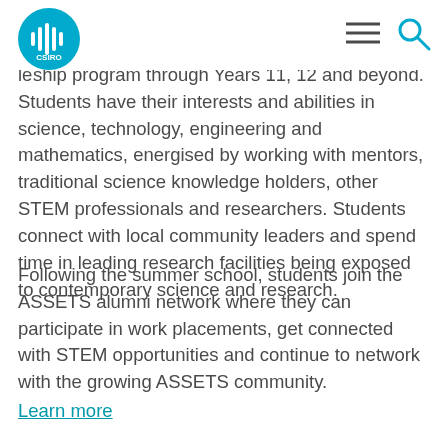CSIRO logo, navigation menu, search icon
leadership program through Years 11, 12 and beyond. Students have their interests and abilities in science, technology, engineering and mathematics, energised by working with mentors, traditional science knowledge holders, other STEM professionals and researchers. Students connect with local community leaders and spend time in leading research facilities being exposed to contemporary science and research.
Following the summer school, students join the ASSETS alumni network where they can participate in work placements, get connected with STEM opportunities and continue to network with the growing ASSETS community.
Learn more